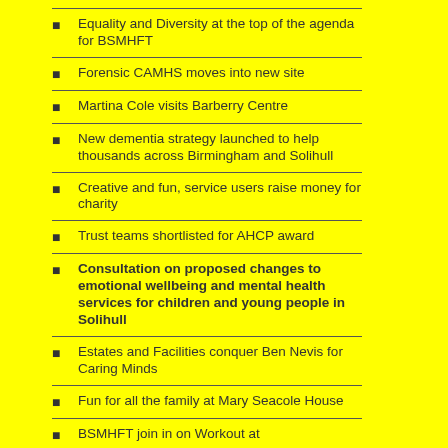Equality and Diversity at the top of the agenda for BSMHFT
Forensic CAMHS moves into new site
Martina Cole visits Barberry Centre
New dementia strategy launched to help thousands across Birmingham and Solihull
Creative and fun, service users raise money for charity
Trust teams shortlisted for AHCP award
Consultation on proposed changes to emotional wellbeing and mental health services for children and young people in Solihull
Estates and Facilities conquer Ben Nevis for Caring Minds
Fun for all the family at Mary Seacole House
BSMHFT join in on Workout at